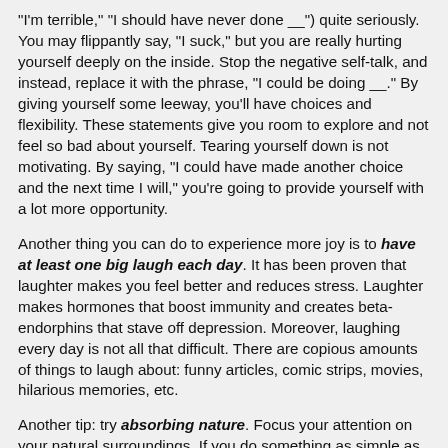"I'm terrible," "I should have never done __") quite seriously.  You may flippantly say, "I suck," but you are really hurting yourself deeply on the inside.  Stop the negative self-talk, and instead, replace it with the phrase, "I could be doing __."  By giving yourself some leeway, you'll have choices and flexibility.  These statements give you room to explore and not feel so bad about yourself.  Tearing yourself down is not motivating.  By saying, "I could have made another choice and the next time I will," you're going to provide yourself with a lot more opportunity.
Another thing you can do to experience more joy is to have at least one big laugh each day.  It has been proven that laughter makes you feel better and reduces stress.  Laughter makes hormones that boost immunity and creates beta-endorphins that stave off depression.  Moreover, laughing every day is not all that difficult.  There are copious amounts of things to laugh about: funny articles, comic strips, movies, hilarious memories, etc.
Another tip: try absorbing nature.  Focus your attention on your natural surroundings.  If you do something as simple as examining a plant leaf by leaf, you'll improve your attention and begin finding joy in the every day.